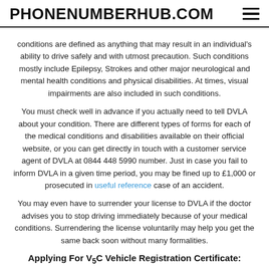PHONENUMBERHUB.COM
conditions are defined as anything that may result in an individual's ability to drive safely and with utmost precaution. Such conditions mostly include Epilepsy, Strokes and other major neurological and mental health conditions and physical disabilities. At times, visual impairments are also included in such conditions.
You must check well in advance if you actually need to tell DVLA about your condition. There are different types of forms for each of the medical conditions and disabilities available on their official website, or you can get directly in touch with a customer service agent of DVLA at 0844 448 5990 number. Just in case you fail to inform DVLA in a given time period, you may be fined up to £1,000 or prosecuted in useful reference case of an accident.
You may even have to surrender your license to DVLA if the doctor advises you to stop driving immediately because of your medical conditions. Surrendering the license voluntarily may help you get the same back soon without many formalities.
Applying For V5C Vehicle Registration Certificate: